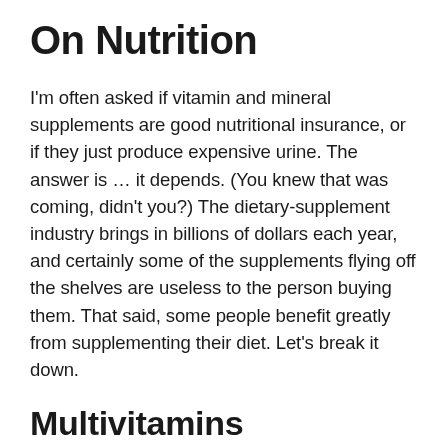On Nutrition
I'm often asked if vitamin and mineral supplements are good nutritional insurance, or if they just produce expensive urine. The answer is … it depends. (You knew that was coming, didn't you?) The dietary-supplement industry brings in billions of dollars each year, and certainly some of the supplements flying off the shelves are useless to the person buying them. That said, some people benefit greatly from supplementing their diet. Let's break it down.
Multivitamins
More than 1 in 3 Americans take a